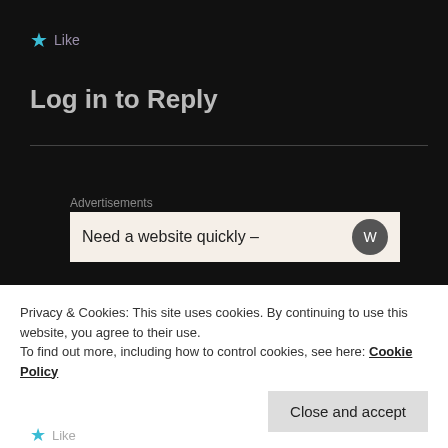★ Like
Log in to Reply
Advertisements
[Figure (screenshot): Advertisement banner with text 'Need a website quickly –' and a circular logo icon on the right]
ANTHONY FERNANDEZ
February 20, 2013 at 4:50 PM
Privacy & Cookies: This site uses cookies. By continuing to use this website, you agree to their use.
To find out more, including how to control cookies, see here: Cookie Policy
Close and accept
★ Like